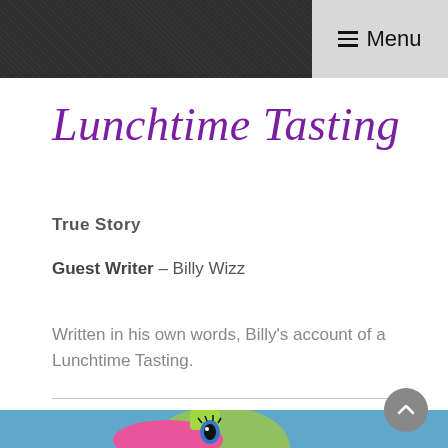Menu
Lunchtime Tasting
True Story
Guest Writer – Billy Wizz
Written in his own words, Billy's account of a Lunchtime Tasting.
[Figure (photo): Partial view of a colorful doll figure with pink and green hair against a blue background]